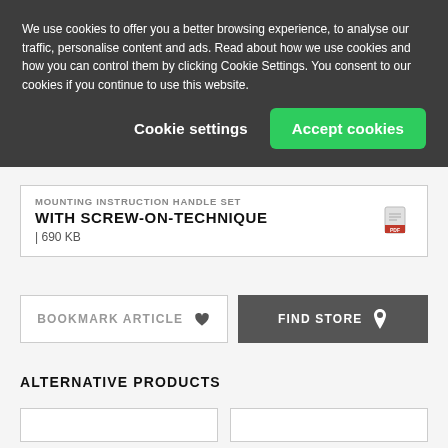We use cookies to offer you a better browsing experience, to analyse our traffic, personalise content and ads. Read about how we use cookies and how you can control them by clicking Cookie Settings. You consent to our cookies if you continue to use this website.
Cookie settings
Accept cookies
MOUNTING INSTRUCTION HANDLE SET WITH SCREW-ON-TECHNIQUE | 690 KB
BOOKMARK ARTICLE
FIND STORE
ALTERNATIVE PRODUCTS